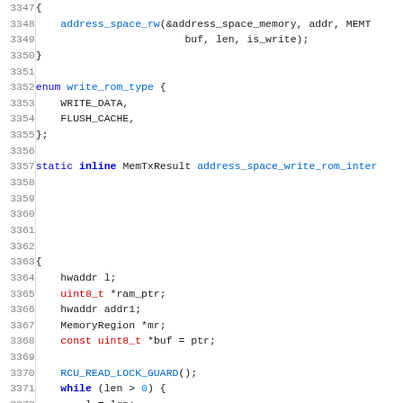[Figure (screenshot): Source code listing (C language) showing lines 3347-3379 of a QEMU-style memory subsystem file. Lines include address_space_rw call, write_rom_type enum, and address_space_write_rom_internal function body with variable declarations and a while loop.]